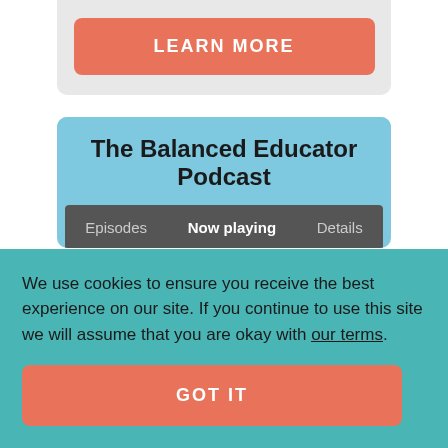[Figure (screenshot): A salmon/coral colored button with white uppercase text reading LEARN MORE on a light gray background card section]
The Balanced Educator Podcast
[Figure (screenshot): Podcast player interface with dark gray tab bar showing Episodes, Now playing (active/bold), and Details tabs]
We use cookies to ensure you receive the best experience on our site. If you continue to use this site we will assume that you are okay with our terms.
[Figure (screenshot): A salmon/coral colored button with white uppercase text reading GOT IT on a teal background cookie consent overlay]